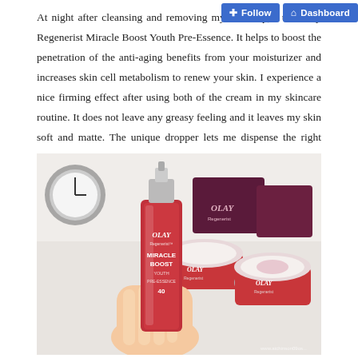At night after cleansing and removing my make up, I use Olay Regenerist Miracle Boost Youth Pre-Essence. It helps to boost the penetration of the anti-aging benefits from your moisturizer and increases skin cell metabolism to renew your skin. I experience a nice firming effect after using both of the cream in my skincare routine. It does not leave any greasy feeling and it leaves my skin soft and matte. The unique dropper lets me dispense the right amount of essence I need on every application.
[Figure (photo): Hand holding a red Olay Regenerist Miracle Boost Youth Pre-Essence dropper bottle, with two Olay cream jars in the background on a white surface, and a clock partially visible in the upper left.]